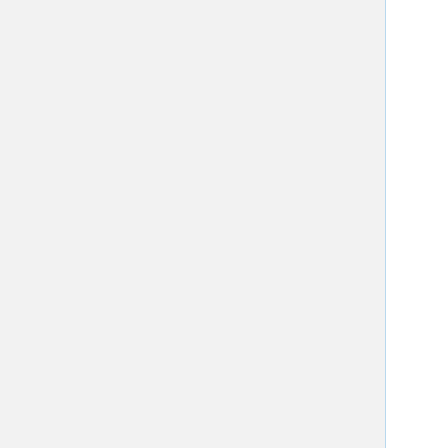| Name | Required | Description |
| --- | --- | --- |
|  |  | th
U
lo
p
s
lo
b |
| search_bind_rdn
search_bind_password | no | Il
c
C
s
w |
| displayname_attrs | no | T
tr
a
"" |
|  |  | C
"s |